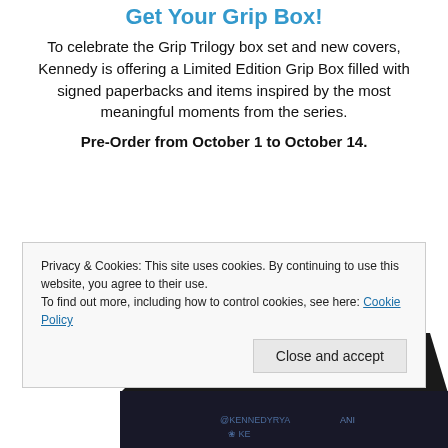Get Your Grip Box!
To celebrate the Grip Trilogy box set and new covers, Kennedy is offering a Limited Edition Grip Box filled with signed paperbacks and items inspired by the most meaningful moments from the series.
Pre-Order from October 1 to October 14.
[Figure (photo): Partial view of a dark book box/package at the bottom of the page]
Privacy & Cookies: This site uses cookies. By continuing to use this website, you agree to their use.
To find out more, including how to control cookies, see here: Cookie Policy
Close and accept